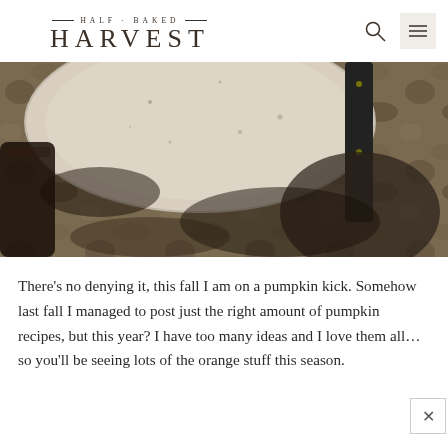HALF BAKED HARVEST
[Figure (photo): Overhead close-up of a rustic ceramic plate and dark skillet on a dark textured stone surface, with a dark glass jar at the left edge]
There’s no denying it, this fall I am on a pumpkin kick. Somehow last fall I managed to post just the right amount of pumpkin recipes, but this year? I have too many ideas and I love them all…so you’ll be seeing lots of the orange stuff this season.